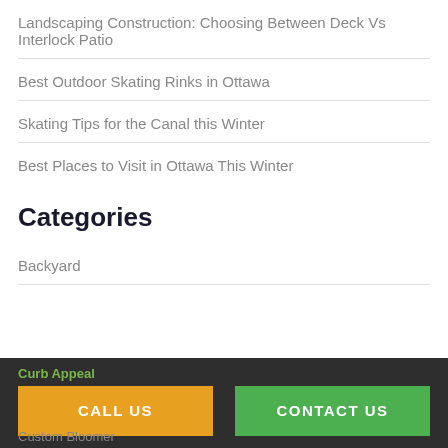Landscaping Construction: Choosing Between Deck Vs Interlock Patio
Best Outdoor Skating Rinks in Ottawa
Skating Tips for the Canal this Winter
Best Places to Visit in Ottawa This Winter
Categories
Backyard
Curb Appeal
CALL US
CONTACT US